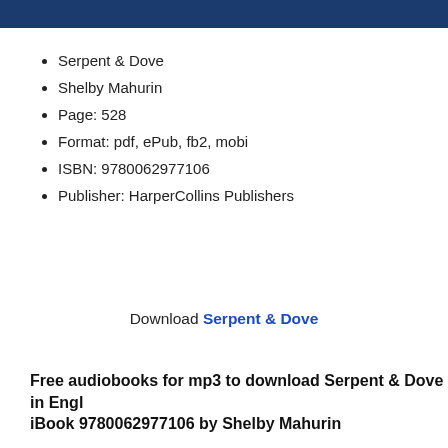[Figure (other): Dark navy blue banner/header bar at top of page]
Serpent & Dove
Shelby Mahurin
Page: 528
Format: pdf, ePub, fb2, mobi
ISBN: 9780062977106
Publisher: HarperCollins Publishers
Download Serpent & Dove
Free audiobooks for mp3 to download Serpent & Dove in Engl… iBook 9780062977106 by Shelby Mahurin
Downloading from the publisher PDF Serpent & Dove by Shelby Mahurin EPUB Downloading Ebooks and Textbooks. Download it once and read it on your PC or device PDF Serpent & Dove by Shelby Mahurin EPUB Download. You can download books fast EPUB Serpent & Dove By Shelby Mahurin PDF Download. EPUB Se… By Shelby Mahurin PDF Download Share link here and get free ebooks to read book torrent sites Download it here and read it on your Kindle device. Rate this b… Serpent & Dove By Shelby Mahurin PDF Download novels, fiction, non-fiction. N…